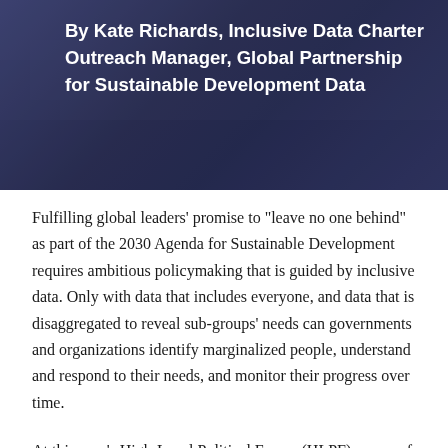By Kate Richards, Inclusive Data Charter Outreach Manager, Global Partnership for Sustainable Development Data
Fulfilling global leaders' promise to "leave no one behind" as part of the 2030 Agenda for Sustainable Development requires ambitious policymaking that is guided by inclusive data. Only with data that includes everyone, and data that is disaggregated to reveal sub-groups' needs can governments and organizations identify marginalized people, understand and respond to their needs, and monitor their progress over time.
At this year's High-Level Political Forum (HLPF), many of the UN member states presenting their Voluntary National Reviews (VNRs) mentioned a focus on data to...